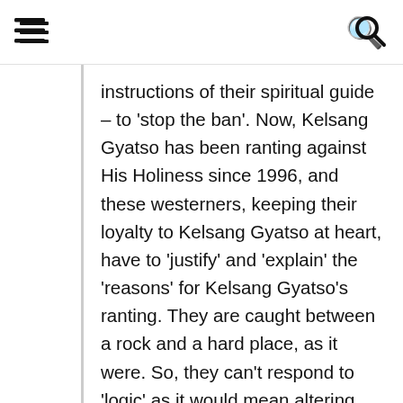[hamburger menu] [search icon]
instructions of their spiritual guide – to 'stop the ban'. Now, Kelsang Gyatso has been ranting against His Holiness since 1996, and these westerners, keeping their loyalty to Kelsang Gyatso at heart, have to 'justify' and 'explain' the 'reasons' for Kelsang Gyatso's ranting. They are caught between a rock and a hard place, as it were. So, they can't respond to 'logic' as it would mean altering the 'credo' that Kelsang Gyatso has given them.
I think this whole issue of the so-called 'ban' has brought both sides closer to His Holiness – they have seen him, been with him at close quarters, heard his teachings – those actions